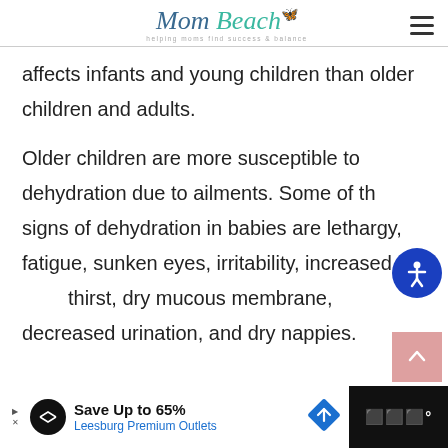Mom Beach — helping moms find success & balance
affects infants and young children than older children and adults.
Older children are more susceptible to dehydration due to ailments. Some of the signs of dehydration in babies are lethargy, fatigue, sunken eyes, irritability, increased thirst, dry mucous membrane, decreased urination, and dry nappies.
[Figure (other): Advertisement banner: Save Up to 65% Leesburg Premium Outlets]
Save Up to 65% Leesburg Premium Outlets